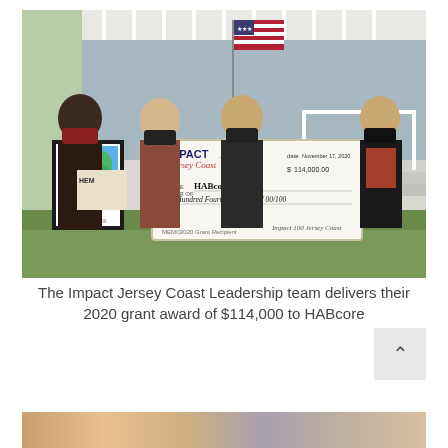[Figure (photo): Four women wearing face masks standing outdoors in front of a house with an American flag. Two of them hold a large ceremonial check from Impact 100 Jersey Coast dated November 17, 2020, made out to HABcore Inc. for $114,000.00 (One Hundred Fourteen Thousand 00/100). One woman on the left holds a framed HABcore logo. The memo line reads 2020 Grant Recipient.]
The Impact Jersey Coast Leadership team delivers their 2020 grant award of $114,000 to HABcore
[Figure (photo): Partial bottom strip showing a group photo, cropped at the bottom of the page.]